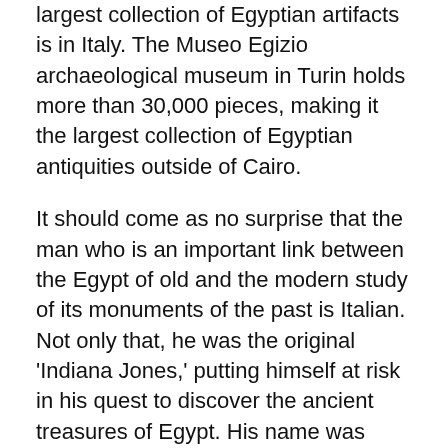largest collection of Egyptian artifacts is in Italy. The Museo Egizio archaeological museum in Turin holds more than 30,000 pieces, making it the largest collection of Egyptian antiquities outside of Cairo.
It should come as no surprise that the man who is an important link between the Egypt of old and the modern study of its monuments of the past is Italian. Not only that, he was the original 'Indiana Jones,' putting himself at risk in his quest to discover the ancient treasures of Egypt. His name was Giovanni Battista Belzoni and this prolific Italian explorer was the pioneer/archaeologist of Egyptian antiquities. He is known as Il grande Belzoni – 'The Great Belzoni.'
Belzoni's family was originally from Rome, but had moved north to the Veneto region. He was born in Padua in 1778, one of 14 children. When Belzoni was 16, he traveled to Rome with the intention of taking his monastic vows. While there, he became fascinated by the study of hydraulics and rather than becoming a monk, he began to formulate his